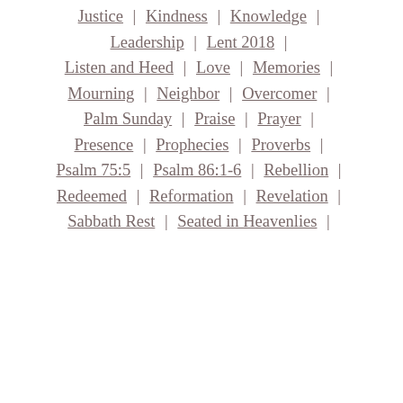Justice | Kindness | Knowledge |
Leadership | Lent 2018 |
Listen and Heed | Love | Memories |
Mourning | Neighbor | Overcomer |
Palm Sunday | Praise | Prayer |
Presence | Prophecies | Proverbs |
Psalm 75:5 | Psalm 86:1-6 | Rebellion |
Redeemed | Reformation | Revelation |
Sabbath Rest | Seated in Heavenlies |